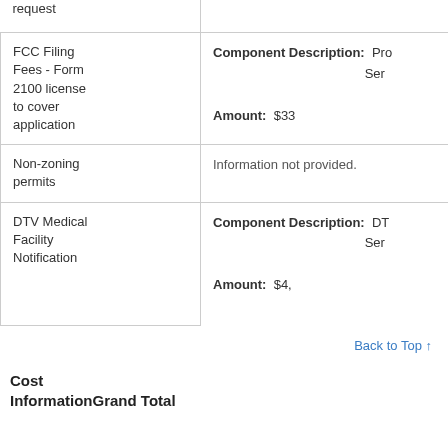|  |  |
| --- | --- |
| request |  |
| FCC Filing Fees - Form 2100 license to cover application | Component Description: Pro... Ser...
Amount: $33... |
| Non-zoning permits | Information not provided. |
| DTV Medical Facility Notification | Component Description: DTV... Ser...
Amount: $4,... |
Back to Top ↑
Cost Information
Grand Total